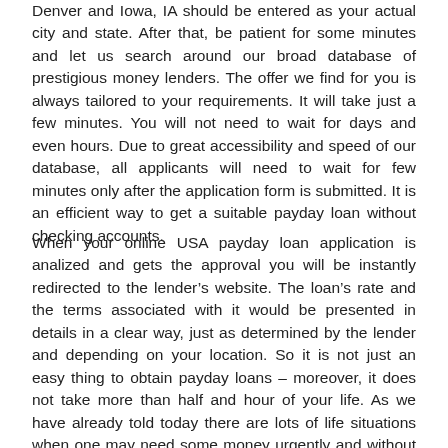Denver and Iowa, IA should be entered as your actual city and state. After that, be patient for some minutes and let us search around our broad database of prestigious money lenders. The offer we find for you is always tailored to your requirements. It will take just a few minutes. You will not need to wait for days and even hours. Due to great accessibility and speed of our database, all applicants will need to wait for few minutes only after the application form is submitted. It is an efficient way to get a suitable payday loan without checking accounts.
When your online USA payday loan application is analized and gets the approval you will be instantly redirected to the lender’s website. The loan’s rate and the terms associated with it would be presented in details in a clear way, just as determined by the lender and depending on your location. So it is not just an easy thing to obtain payday loans – moreover, it does not take more than half and hour of your life. As we have already told today there are lots of life situations when one may need some money urgently and without delay.